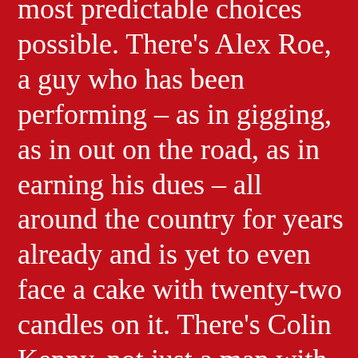most predictable choices possible. There's Alex Roe, a guy who has been performing – as in gigging, as in out on the road, as in earning his dues – all around the country for years already and is yet to even face a cake with twenty-two candles on it. There's Colin Kenny, not just a man with a voice who can